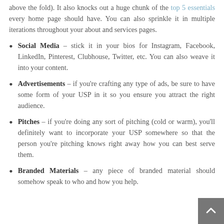above the fold). It also knocks out a huge chunk of the top 5 essentials every home page should have. You can also sprinkle it in multiple iterations throughout your about and services pages.
Social Media – stick it in your bios for Instagram, Facebook, LinkedIn, Pinterest, Clubhouse, Twitter, etc. You can also weave it into your content.
Advertisements – if you're crafting any type of ads, be sure to have some form of your USP in it so you ensure you attract the right audience.
Pitches – if you're doing any sort of pitching (cold or warm), you'll definitely want to incorporate your USP somewhere so that the person you're pitching knows right away how you can best serve them.
Branded Materials – any piece of branded material should somehow speak to who and how you help.